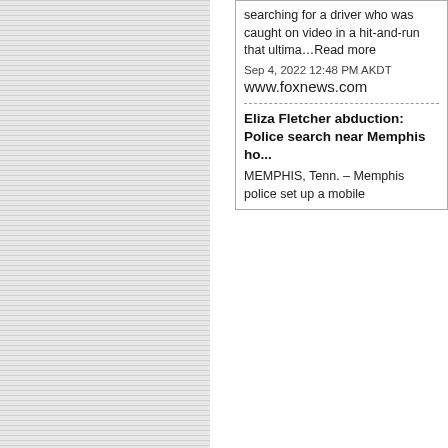[Figure (screenshot): Left panel with horizontal striped gray background, approximately 210px wide]
searching for a driver who was caught on video in a hit-and-run that ultima…Read more
Sep 4, 2022 12:48 PM AKDT
www.foxnews.com
Eliza Fletcher abduction: Police search near Memphis ho...
MEMPHIS, Tenn. – Memphis police set up a mobile
mine is located on the Tulsequah River abo... Taku River, in the traditional territory of the T...
“This is very good news. The receivership h... Tulsequah Chief and clean up the site and v... First Nation and Alaska Native Tribal govern... toward turning its commitments into action,”... Nation Spokesperson.
“We are celebrating this long overdue step.... can to ensure B.C. makes good on its commi... 2015, then B.C. Mines Minister Bill Bennett... situation; seven years later we are still waiti... Clarence Laiti.
“Salmon and other traditional foods are the... rivers such as the Taku have nourished our...